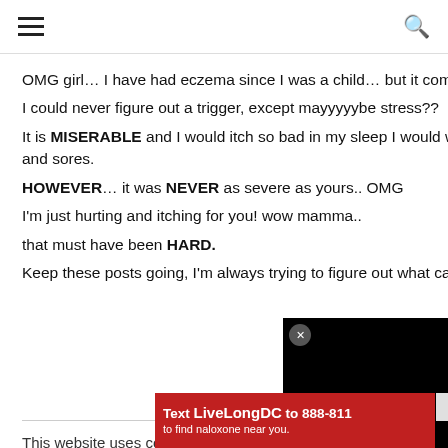≡  🔍
OMG girl… I have had eczema since I was a child… but it comes and goes…
I could never figure out a trigger, except mayyyyybe stress??
It is MISERABLE and I would itch so bad in my sleep I would wake up with blisters and sores.
HOWEVER… it was NEVER as severe as yours.. OMG
I'm just hurting and itching for you! wow mamma..
that must have been HARD.
Keep these posts going, I'm always trying to figure out what causes different things
This website uses cookies to improve yo
[Figure (screenshot): Black video player overlay with close (x) button]
[Figure (screenshot): Red advertisement banner: Text LiveLongDC to 888-811 to find naloxone near you.]